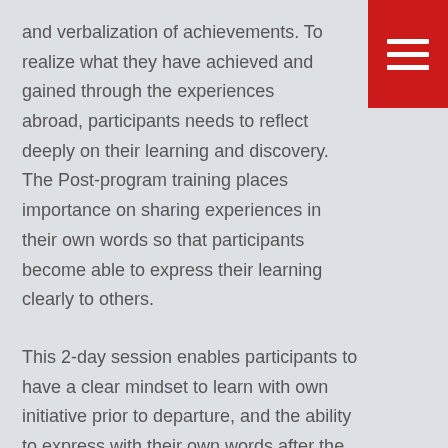and verbalization of achievements. To realize what they have achieved and gained through the experiences abroad, participants needs to reflect deeply on their learning and discovery. The Post-program training places importance on sharing experiences in their own words so that participants become able to express their learning clearly to others.
This 2-day session enables participants to have a clear mindset to learn with own initiative prior to departure, and the ability to express with their own words after the program. This process will help participants to value their overseas experiences further, and prepare for the next steps.